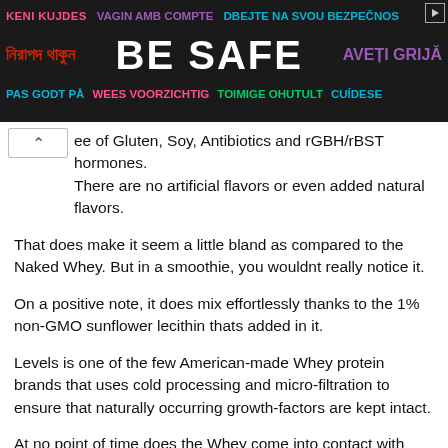[Figure (other): Multilingual 'Be Safe' advertisement banner with colorful text in multiple languages on dark background]
ee of Gluten, Soy, Antibiotics and rGBH/rBST hormones. There are no artificial flavors or even added natural flavors.
That does make it seem a little bland as compared to the Naked Whey. But in a smoothie, you wouldnt really notice it.
On a positive note, it does mix effortlessly thanks to the 1% non-GMO sunflower lecithin thats added in it.
Levels is one of the few American-made Whey protein brands that uses cold processing and micro-filtration to ensure that naturally occurring growth-factors are kept intact.
At no point of time does the Whey come into contact with Bleaches or other strong chemicals.